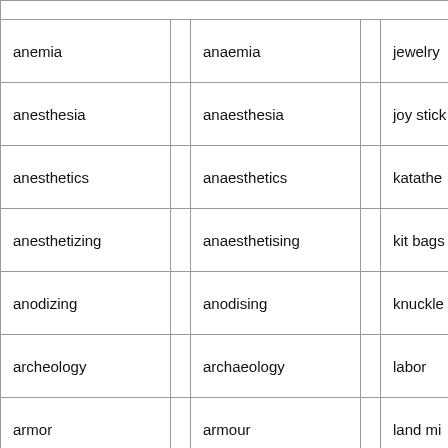| American English |  | British English |  | ... |
| --- | --- | --- | --- | --- |
|  |  |  |  |  |
| anemia |  | anaemia |  | jewelry |
| anesthesia |  | anaesthesia |  | joy stick |
| anesthetics |  | anaesthetics |  | katathe... |
| anesthetizing |  | anaesthetising |  | kit bags |
| anodizing |  | anodising |  | knuckle... |
| archeology |  | archaeology |  | labor |
| armor |  | armour |  | land mi... |